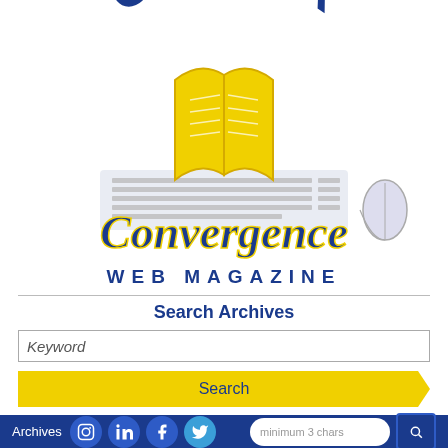[Figure (logo): Career Convergence Web Magazine logo featuring arched 'CAREER' text in blue, script 'Convergence' text in blue with gold outline, 'WEB MAGAZINE' in spaced blue capitals, an open book graphic in yellow/gold, and a laptop/keyboard with computer mouse in light gray.]
Search Archives
Keyword
Search
Archives
minimum 3 chars